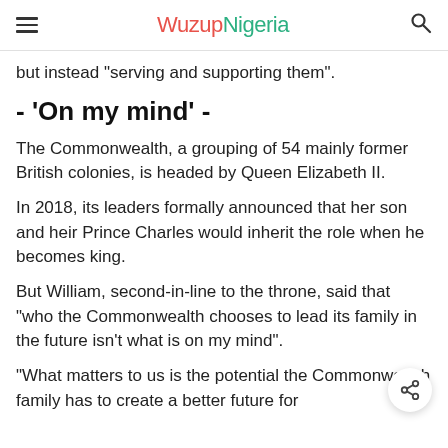WuzupNigeria
but instead "serving and supporting them".
- 'On my mind' -
The Commonwealth, a grouping of 54 mainly former British colonies, is headed by Queen Elizabeth II.
In 2018, its leaders formally announced that her son and heir Prince Charles would inherit the role when he becomes king.
But William, second-in-line to the throne, said that "who the Commonwealth chooses to lead its family in the future isn't what is on my mind".
"What matters to us is the potential the Commonwealth family has to create a better future for